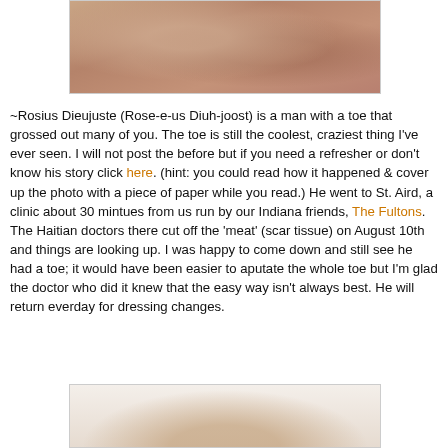[Figure (photo): Close-up photo of a person's face, cropped to show nose and cheek area, dark skin tone]
~Rosius Dieujuste (Rose-e-us Diuh-joost) is a man with a toe that grossed out many of you. The toe is still the coolest, craziest thing I've ever seen. I will not post the before but if you need a refresher or don't know his story click here. (hint: you could read how it happened & cover up the photo with a piece of paper while you read.) He went to St. Aird, a clinic about 30 mintues from us run by our Indiana friends, The Fultons. The Haitian doctors there cut off the 'meat' (scar tissue) on August 10th and things are looking up. I was happy to come down and still see he had a toe; it would have been easier to aputate the whole toe but I'm glad the doctor who did it knew that the easy way isn't always best. He will return everday for dressing changes.
[Figure (photo): Partial photo at bottom of page, appears to show a foot or medical subject, light background]